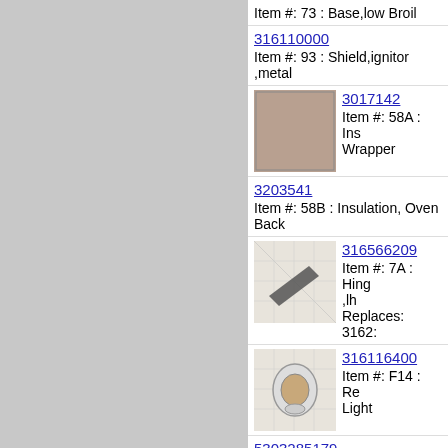Item #: 73 : Base,low Broil
316110000
Item #: 93 : Shield,ignitor ,metal
3017142
Item #: 58A : Insulation, Wrapper
3203541
Item #: 58B : Insulation, Oven Back
316566209
Item #: 7A : Hinge ,lh
Replaces: 3162
316116400
Item #: F14 : Re Light
5303285179
Item #: NI : Screw,wafer Head `8-32 ,black
316008401